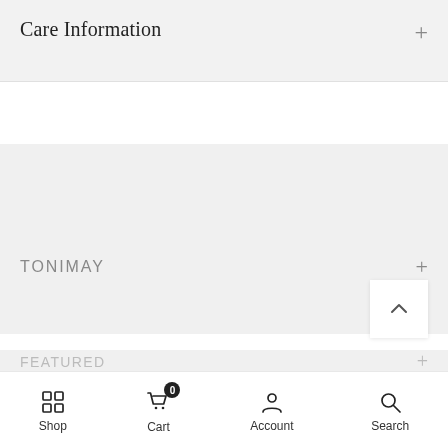Care Information
TONIMAY
FEATURED
XSmall 5
1
ADD TO CART
Shop | Cart | Account | Search